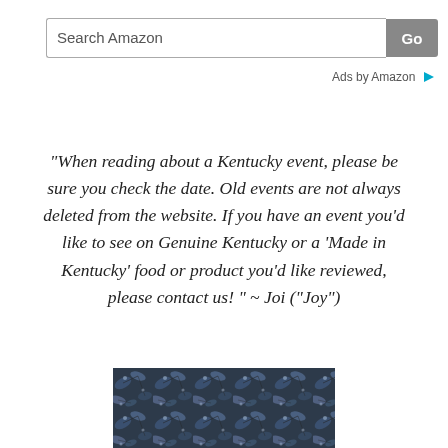[Figure (screenshot): Amazon search bar with text 'Search Amazon' and a grey 'Go' button]
Ads by Amazon ▷
"When reading about a Kentucky event, please be sure you check the date. Old events are not always deleted from the website. If you have an event you'd like to see on Genuine Kentucky or a 'Made in Kentucky' food or product you'd like reviewed, please contact us! " ~ Joi ("Joy")
[Figure (photo): Partial photo of blue and dark leaves/foliage texture at the bottom of the page]